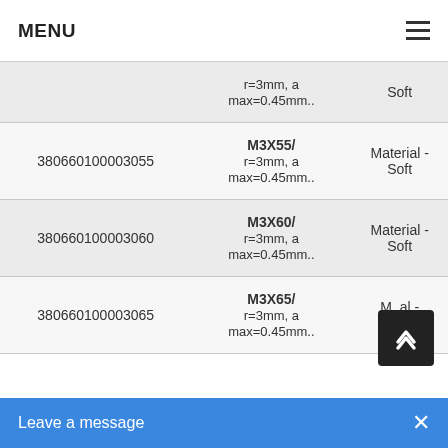MENU
| ID | Description | Material |
| --- | --- | --- |
|  | r=3mm, a max=0.45mm.. | Soft |
| 380660100003055 | M3X55/ r=3mm, a max=0.45mm.. | Material - Soft |
| 380660100003060 | M3X60/ r=3mm, a max=0.45mm.. | Material - Soft |
| 380660100003065 | M3X65/ r=3mm, a max=0.45mm.. | Material - Soft |